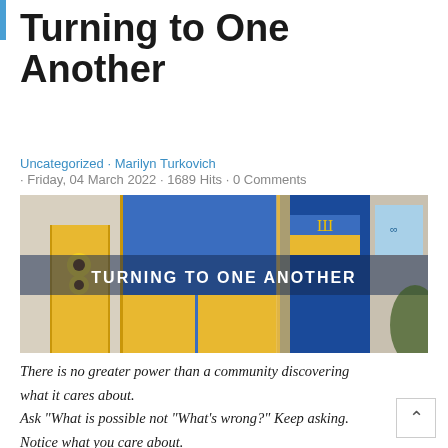Turning to One Another
Uncategorized · Marilyn Turkovich · Friday, 04 March 2022 · 1689 Hits · 0 Comments
[Figure (photo): Photo of a Ukrainian building entrance with blue and yellow painted doors, sunflower murals, Ukrainian flag colors. White text overlay reads 'TURNING TO ONE ANOTHER'.]
There is no greater power than a community discovering what it cares about. Ask "What is possible not "What's wrong?" Keep asking. Notice what you care about. Assume that many others share your dreams.